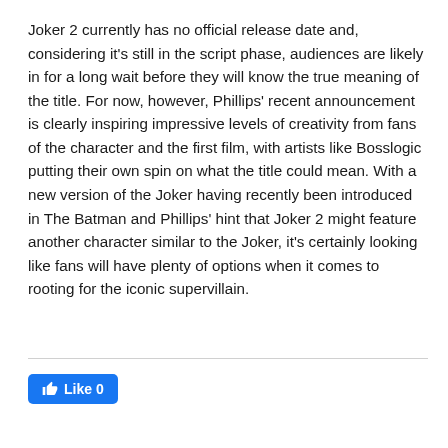Joker 2 currently has no official release date and, considering it's still in the script phase, audiences are likely in for a long wait before they will know the true meaning of the title. For now, however, Phillips' recent announcement is clearly inspiring impressive levels of creativity from fans of the character and the first film, with artists like Bosslogic putting their own spin on what the title could mean. With a new version of the Joker having recently been introduced in The Batman and Phillips' hint that Joker 2 might feature another character similar to the Joker, it's certainly looking like fans will have plenty of options when it comes to rooting for the iconic supervillain.
[Figure (other): Facebook Like button showing thumbs up icon and 'Like 0']